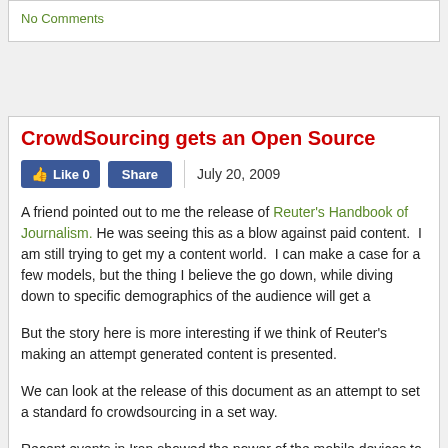No Comments
CrowdSourcing gets an Open Source
Like 0  Share  July 20, 2009
A friend pointed out to me the release of Reuter's Handbook of Journalism. He was seeing this as a blow against paid content.  I am still trying to get my a content world.  I can make a case for a few models, but the thing I believe the go down, while diving down to specific demographics of the audience will get a
But the story here is more interesting if we think of Reuter's making an attempt generated content is presented.
We can look at the release of this document as an attempt to set a standard for crowdsourcing in a set way.
Recent events in Iran showed the power of the mobile devices to deliver the m Not everything that happened was to the positive when it came to cell phones.
However, if Reuters is able to influence the market of would be journalists, the and given themselves an advantage in editing and selecting of content in a mo